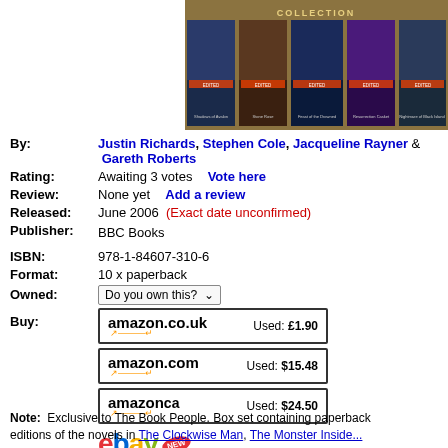[Figure (photo): Doctor Who BBC Books Collection box set cover showing multiple paperback book spines/covers with characters on a gold/brown background]
By: Justin Richards, Stephen Cole, Jacqueline Rayner & Gareth Roberts
Rating: Awaiting 3 votes  Vote here
Review: None yet  Add a review
Released: June 2006  (Exact date unconfirmed)
Publisher: BBC Books
ISBN: 978-1-84607-310-6
Format: 10 x paperback
Owned: Do you own this?
Buy: amazon.co.uk Used: £1.90  |  amazon.com Used: $15.48  |  amazon.ca Used: $24.50  |  eBay NEW
Note: Exclusive to The Book People. Box set containing paperback editions of the novels in The Clockwise Man, The Monster Inside...